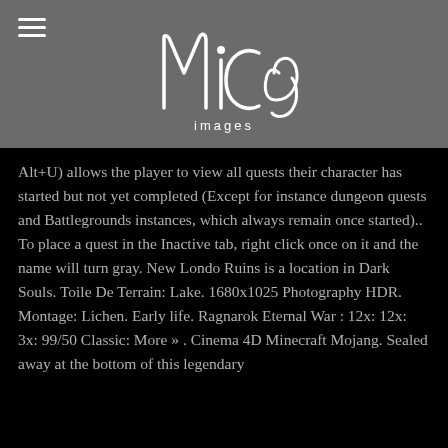[Figure (logo): MiCo Images logo — stylized handwritten 'MiCo' lettering with 'images' text below, white on gray background]
Alt+U) allows the player to view all quests their character has started but not yet completed (Except for instance dungeon quests and Battlegrounds instances, which always remain once started).. To place a quest in the Inactive tab, right click once on it and the name will turn gray. New Londo Ruins is a location in Dark Souls. Toile De Terrain: Lake. 1680x1025 Photography HDR. Montage: Lichen. Early life. Ragnarok Eternal War : 12x: 12x: 3x: 99/50 Classic: More » . Cinema 4D Minecraft Mojang. Sealed away at the bottom of this legendary